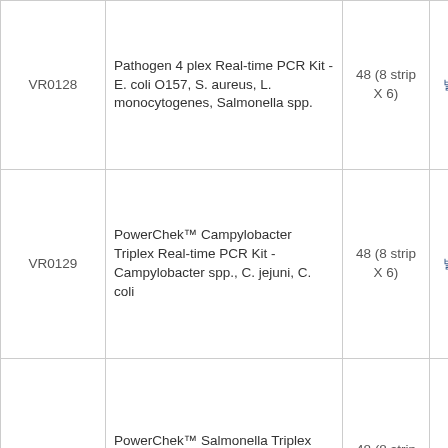| ID | Product Name | Quantity | Price | Cart |
| --- | --- | --- | --- | --- |
| VR0128 | Pathogen 4 plex Real-time PCR Kit - E. coli O157, S. aureus, L. monocytogenes, Salmonella spp. | 48 (8 strip X 6) | 별도문의 |  |
| VR0129 | PowerChek™ Campylobacter Triplex Real-time PCR Kit - Campylobacter spp., C. jejuni, C. coli | 48 (8 strip X 6) | 별도문의 |  |
| VR0152 | PowerChek™ Salmonella Triplex Real-time PCR Kit - Salmonella. spp., S. enteritidis, S. typhimurium | 48 (8 strip X 6) | 별도문의 |  |
| VR0801 | PowerChek™ Brucella Real-time PCR Kit | 48 (8 strip X 6) | 별도문의 |  |